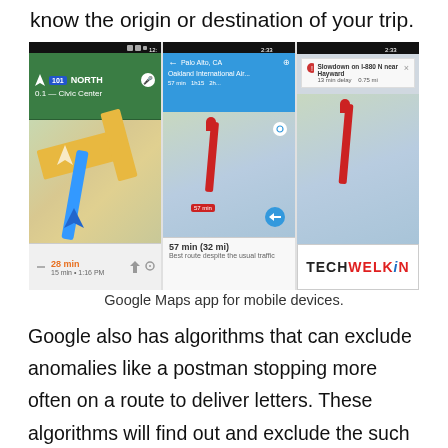know the origin or destination of your trip.
[Figure (screenshot): Three screenshots of the Google Maps mobile app showing navigation, route planning, and traffic alert views, with a TechWelkin watermark on the third panel.]
Google Maps app for mobile devices.
Google also has algorithms that can exclude anomalies like a postman stopping more often on a route to deliver letters. These algorithms will find out and exclude the such cases. Thus a frequently stopping postman will not trigger a traffic congestion alarm in